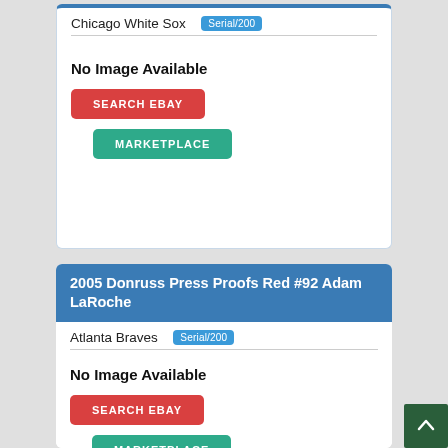Chicago White Sox  Serial/200
No Image Available
SEARCH EBAY
MARKETPLACE
2005 Donruss Press Proofs Red #92 Adam LaRoche
Atlanta Braves  Serial/200
No Image Available
SEARCH EBAY
MARKETPLACE